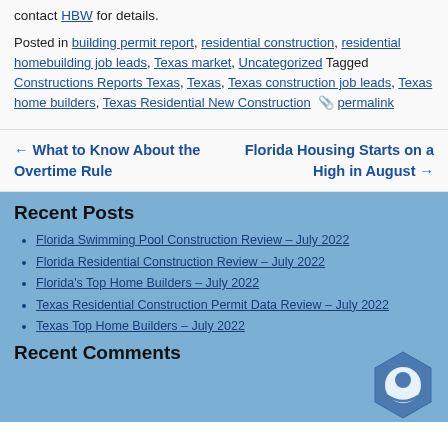contact HBW for details.
Posted in building permit report, residential construction, residential homebuilding job leads, Texas market, Uncategorized Tagged Constructions Reports Texas, Texas, Texas construction job leads, Texas home builders, Texas Residential New Construction 📎 permalink
← What to Know About the Overtime Rule
Florida Housing Starts on a High in August →
Recent Posts
Florida Swimming Pool Construction Review – July 2022
Florida Residential Construction Review – July 2022
Florida's Top Home Builders – July 2022
Texas Residential Construction Permit Data Review – July 2022
Texas Top Home Builders – July 2022
Recent Comments